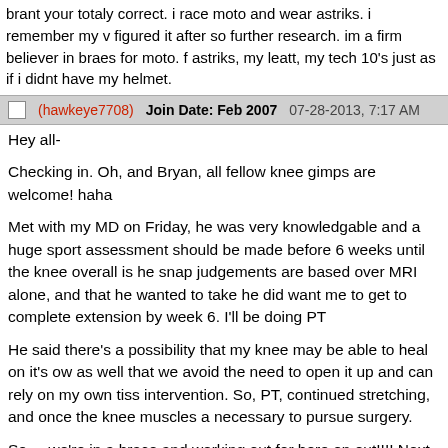brant your totaly correct. i race moto and wear astriks. i remember my v figured it after so further research. im a firm believer in braes for moto. f astriks, my leatt, my tech 10's just as if i didnt have my helmet.
(hawkeye7708)  Join Date: Feb 2007  07-28-2013, 7:17 AM
Hey all-

Checking in. Oh, and Bryan, all fellow knee gimps are welcome! haha

Met with my MD on Friday, he was very knowledgable and a huge sport assessment should be made before 6 weeks until the knee overall is he snap judgements are based over MRI alone, and that he wanted to take he did want me to get to complete extension by week 6. I'll be doing PT

He said there's a possibility that my knee may be able to heal on it's ow as well that we avoid the need to open it up and can rely on my own tiss intervention. So, PT, continued stretching, and once the knee muscles a necessary to pursue surgery.

So.... we're in a brace and working out for here on out!!!! Next step, 1st
(westsiderippa)  Join Date: Dec 2006  07-29-2013, 4:36 PM
just had my surgery this morning to fix my mpfl and mcl. man those drug much pain yet just kickin it on the couch watching DIY and got the ice m fron thigh to calf. super awesome people took great care of me today. ha